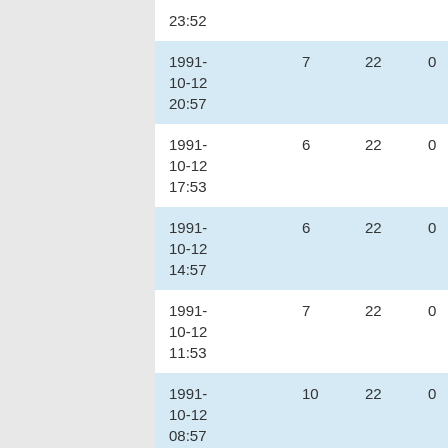| Date | Col1 | Col2 | Col3 | Col4 |
| --- | --- | --- | --- | --- |
| 1991-10-12 23:52 |  |  |  |  |
| 1991-10-12 20:57 | 7 | 22 | 0 | 0 |
| 1991-10-12 17:53 | 6 | 22 | 0 | 0 |
| 1991-10-12 14:57 | 6 | 22 | 0 | 0 |
| 1991-10-12 11:53 | 7 | 22 | 0 | 0 |
| 1991-10-12 08:57 | 10 | 22 | 0 | 0 |
| 1991- | 8 | 22 | 0 | 0 |